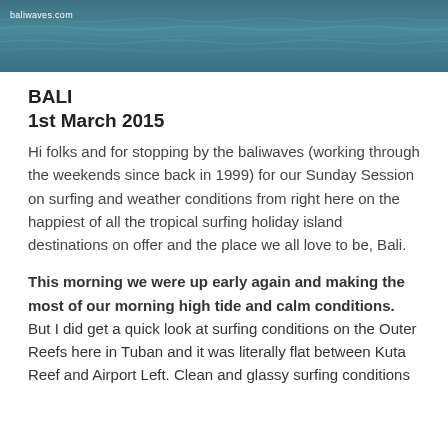[Figure (photo): Ocean water surface photo with baliwaves.com watermark in top left corner]
BALI
1st March 2015
Hi folks and for stopping by the baliwaves (working through the weekends since back in 1999) for our Sunday Session on surfing and weather conditions from right here on the happiest of all the tropical surfing holiday island destinations on offer and the place we all love to be, Bali.
This morning we were up early again and making the most of our morning high tide and calm conditions. But I did get a quick look at surfing conditions on the Outer Reefs here in Tuban and it was literally flat between Kuta Reef and Airport Left. Clean and glassy surfing conditions